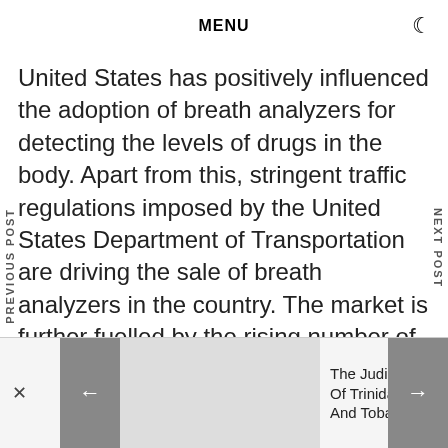MENU
United States has positively influenced the adoption of breath analyzers for detecting the levels of drugs in the body. Apart from this, stringent traffic regulations imposed by the United States Department of Transportation are driving the sale of breath analyzers in the country. The market is further fuelled by the rising number of road accidents caused due to extreme alcohol consumption. Moreover, leading players are focusing on incorporating advanced technologies, such as artificial intelligence (AI) and smart devices with
PREVIOUS POST
NEXT POST
The Judiciary Of Trinidad And Tobago